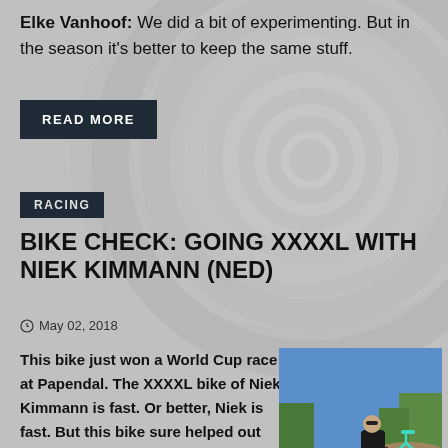Elke Vanhoof: We did a bit of experimenting. But in the season it's better to keep the same stuff.
READ MORE
RACING
BIKE CHECK: GOING XXXXL WITH NIEK KIMMANN (NED)
May 02, 2018
This bike just won a World Cup race at Papendal. The XXXXL bike of Niek Kimmann is fast. Or better, Niek is fast. But this bike sure helped out with the win.
[Figure (photo): Person in black hoodie standing next to a teal/mint colored BMX bike outdoors on a dirt track with trees in background and blue sky]